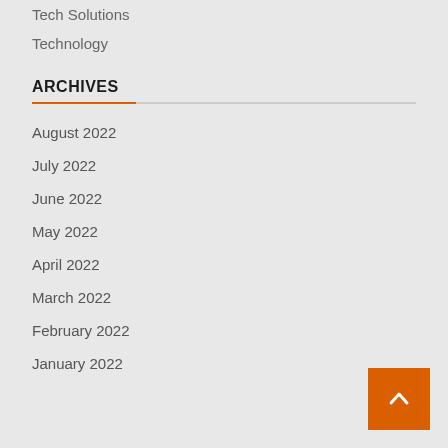Tech Solutions
Technology
ARCHIVES
August 2022
July 2022
June 2022
May 2022
April 2022
March 2022
February 2022
January 2022